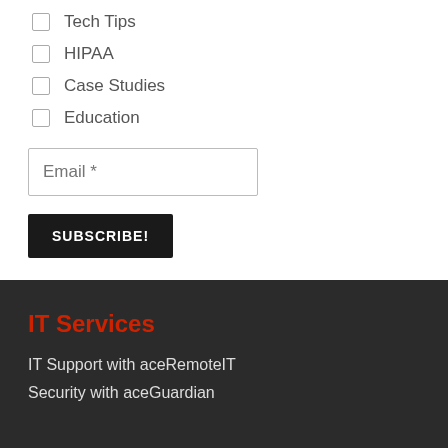Tech Tips
HIPAA
Case Studies
Education
Email *
SUBSCRIBE!
IT Services
IT Support with aceRemoteIT
Security with aceGuardian